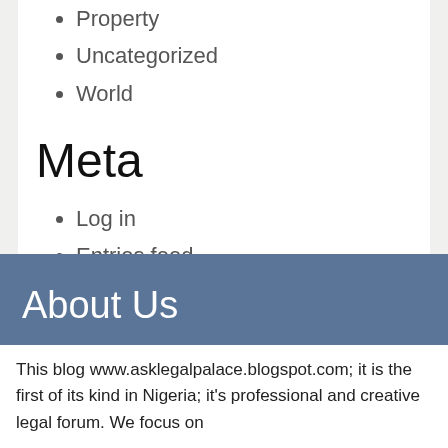Property
Uncategorized
World
Meta
Log in
Entries feed
Comments feed
WordPress.org
About Us
This blog www.asklegalpalace.blogspot.com; it is the first of its kind in Nigeria; it’s professional and creative legal forum. We focus on